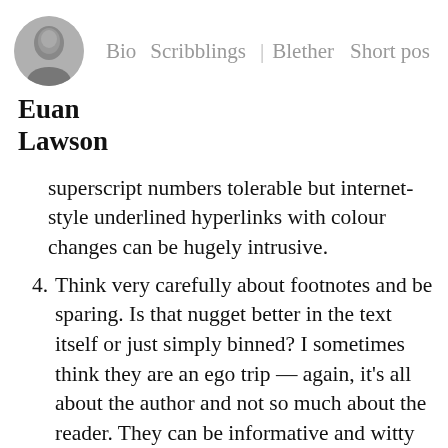Bio  Scribblings | Blether  Short pos
[Figure (photo): Circular avatar portrait of Euan Lawson, a grayscale photo of a man]
Euan Lawson
superscript numbers tolerable but internet-style underlined hyperlinks with colour changes can be hugely intrusive.
4. Think very carefully about footnotes and be sparing. Is that nugget better in the text itself or just simply binned? I sometimes think they are an ego trip — again, it's all about the author and not so much about the reader. They can be informative and witty but to read footnotes on an ebook will